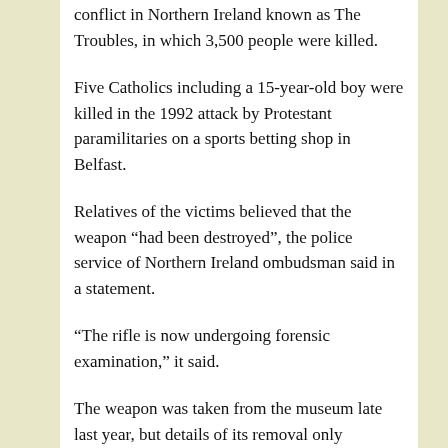conflict in Northern Ireland known as The Troubles, in which 3,500 people were killed.
Five Catholics including a 15-year-old boy were killed in the 1992 attack by Protestant paramilitaries on a sports betting shop in Belfast.
Relatives of the victims believed that the weapon “had been destroyed”, the police service of Northern Ireland ombudsman said in a statement.
“The rifle is now undergoing forensic examination,” it said.
The weapon was taken from the museum late last year, but details of its removal only emerged this week.
A museum spokeswoman said the rifle was “removed from display”, adding that it had originally come into the collections from the Northern Ireland police’s Weapons and Explosives Research Centre.
The BBC reported that the weapon had also been linked